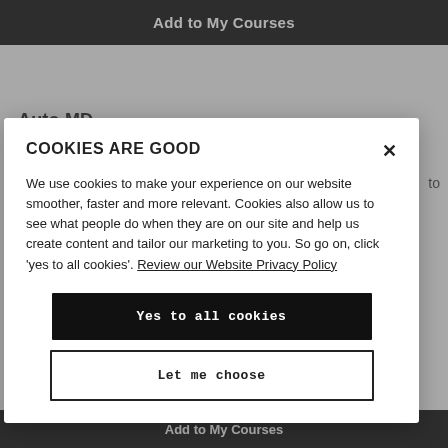Add to My Courses
Auto MD...
COOKIES ARE GOOD
We use cookies to make your experience on our website smoother, faster and more relevant. Cookies also allow us to see what people do when they are on our site and help us create content and tailor our marketing to you. So go on, click 'yes to all cookies'. Review our Website Privacy Policy
Yes to all cookies
Let me choose
Add to My Courses